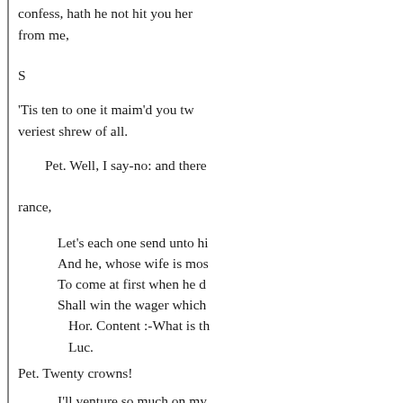confess, hath he not hit you here
from me,
S
'Tis ten to one it maim'd you tw
veriest shrew of all.
Pet. Well, I say-no: and there
rance,
Let's each one send unto hi
And he, whose wife is mos
To come at first when he d
Shall win the wager which
Hor. Content :-What is th
Luc.
Pet. Twenty crowns!
I'll venture so much on my
But twenty times so much
Luć. A hundred then.
Hor.